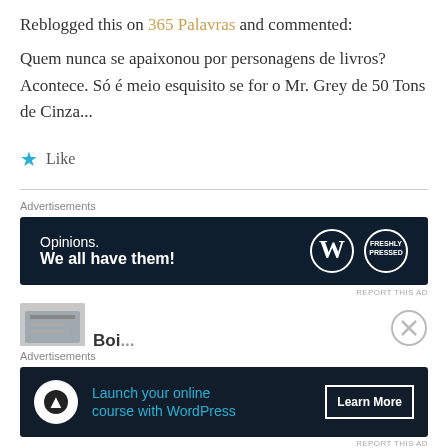Reblogged this on 365 Palavras and commented:
Quem nunca se apaixonou por personagens de livros? Acontece. Só é meio esquisito se for o Mr. Grey de 50 Tons de Cinza...
Like
Advertisements
[Figure (screenshot): Dark advertisement banner: 'Opinions. We all have them!' with WordPress and Freshly Pressed logos]
REPORT THIS AD
Advertisements
[Figure (screenshot): Dark advertisement banner: 'Launch your online course with WordPress' with a Learn More button]